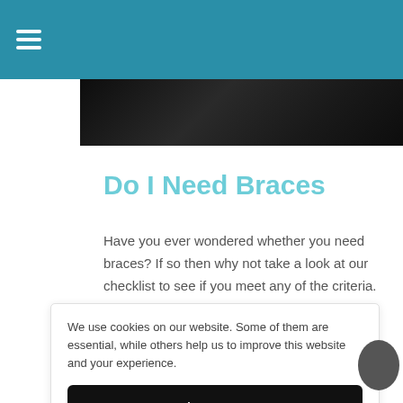≡
[Figure (photo): Dark grayscale hero image, partially visible behind page content]
Do I Need Braces
Have you ever wondered whether you need braces? If so then why not take a look at our checklist to see if you meet any of the criteria.
We use cookies on our website. Some of them are essential, while others help us to improve this website and your experience.
I accept
Accept only essential cookies
Individual Privacy Preferences